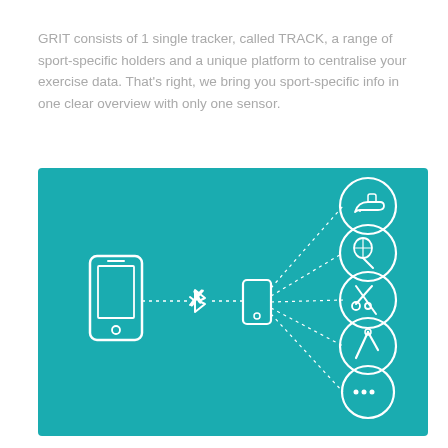GRIT consists of 1 single tracker, called TRACK, a range of sport-specific holders and a unique platform to centralise your exercise data. That's right, we bring you sport-specific info in one clear overview with only one sensor.
[Figure (infographic): Teal/turquoise background infographic showing a smartphone connected via Bluetooth (dotted line) to a small tracker device, which then connects via dotted lines to 5 circular icons on the right: a running shoe, a tennis racket/ball, scissors/tools, a wrench/tool, and a '...' icon representing additional sports.]